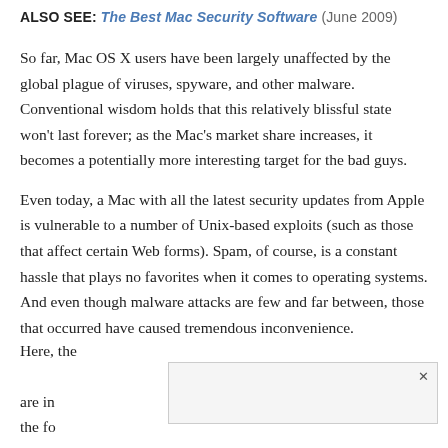ALSO SEE: The Best Mac Security Software (June 2009)
So far, Mac OS X users have been largely unaffected by the global plague of viruses, spyware, and other malware. Conventional wisdom holds that this relatively blissful state won't last forever; as the Mac's market share increases, it becomes a potentially more interesting target for the bad guys.
Even today, a Mac with all the latest security updates from Apple is vulnerable to a number of Unix-based exploits (such as those that affect certain Web forms). Spam, of course, is a constant hassle that plays no favorites when it comes to operating systems. And even though malware attacks are few and far between, those that occurred have caused tremendous inconvenience.
Here, the [overlay] are in the fo[llowing]